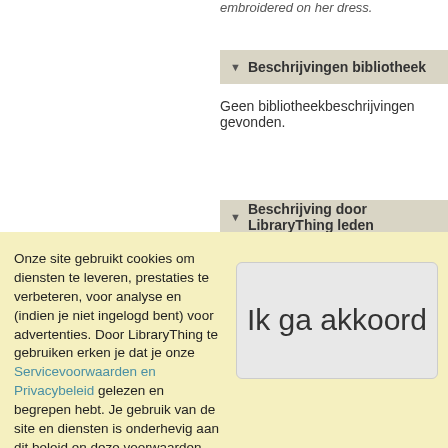embroidered on her dress.
▼ Beschrijvingen bibliotheek
Geen bibliotheekbeschrijvingen gevonden.
▼ Beschrijving door LibraryThing leden
Boekbeschrijving
Haiku samenvatting
Onze site gebruikt cookies om diensten te leveren, prestaties te verbeteren, voor analyse en (indien je niet ingelogd bent) voor advertenties. Door LibraryThing te gebruiken erken je dat je onze Servicevoorwaarden en Privacybeleid gelezen en begrepen hebt. Je gebruik van de site en diensten is onderhevig aan dit beleid en deze voorwaarden.
Ik ga akkoord